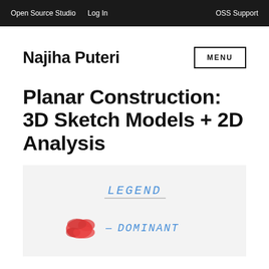Open Source Studio   Log In   OSS Support
Najiha Puteri
MENU
Planar Construction: 3D Sketch Models + 2D Analysis
[Figure (illustration): Hand-drawn legend on light gray background showing 'LEGEND' written in blue handwriting with an underline, and a red scribble mark labeled '- DOMINANT' in blue handwriting below it.]